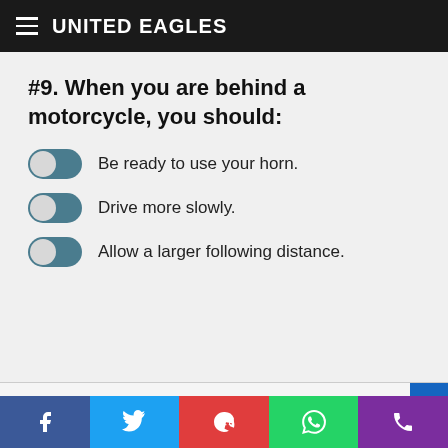UNITED EAGLES
#9. When you are behind a motorcycle, you should:
Be ready to use your horn.
Drive more slowly.
Allow a larger following distance.
#10. When backing up: